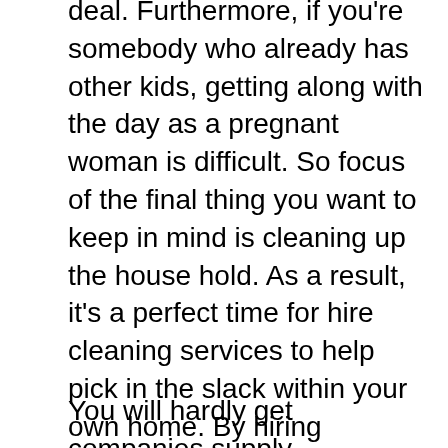deal. Furthermore, if you're somebody who already has other kids, getting along with the day as a pregnant woman is difficult. So focus of the final thing you want to keep in mind is cleaning up the house hold. As a result, it's a perfect time for hire cleaning services to help pick in the slack within your own home. By hiring professionals, you can enjoy a nice, neat home without in order to use your last minimal bit strength get.
You will hardly get companies supply emergency services for each day. Albany in New York is has lots of companies that provide quality services even at odd countless hours. This factor has earned an exceptional goodwill for numerous companies. Most firms in Albany, NY are